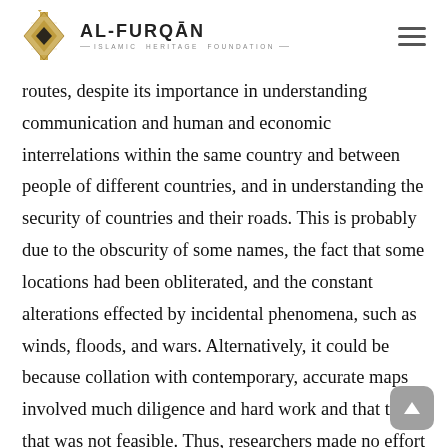AL-FURQĀN Islamic Heritage Foundation
routes, despite its importance in understanding communication and human and economic interrelations within the same country and between people of different countries, and in understanding the security of countries and their roads. This is probably due to the obscurity of some names, the fact that some locations had been obliterated, and the constant alterations effected by incidental phenomena, such as winds, floods, and wars. Alternatively, it could be because collation with contemporary, accurate maps involved much diligence and hard work and that time that was not feasible. Thus, researchers made no effort to study this available field, despite its importance, since routes served as the arteries that support the great Islamic world